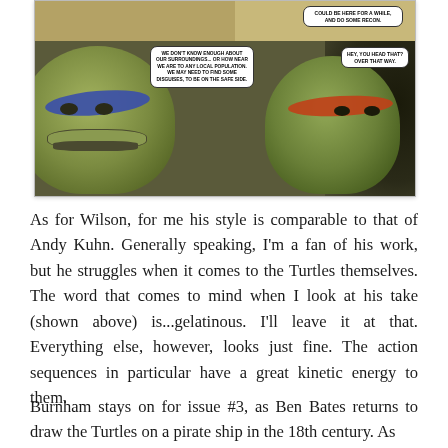[Figure (illustration): Comic book panel showing two Teenage Mutant Ninja Turtles (one with blue mask on left, one with red/orange mask on right) with speech bubbles. Top panel shows a smaller scene with a speech bubble reading 'COULD BE HERE FOR A WHILE, AND DO SOME RECON.' Main panel speech bubble on left reads 'WE DON'T KNOW ENOUGH ABOUT OUR SURROUNDINGS... OR HOW NEAR WE ARE TO ANY LOCAL POPULATION. WE MAY NEED TO FIND SOME DISGUISES, TO BE ON THE SAFE SIDE.' Right speech bubble reads 'HEY, YOU HEAD THAT? OVER THAT WAY.']
As for Wilson, for me his style is comparable to that of Andy Kuhn. Generally speaking, I'm a fan of his work, but he struggles when it comes to the Turtles themselves. The word that comes to mind when I look at his take (shown above) is...gelatinous. I'll leave it at that. Everything else, however, looks just fine. The action sequences in particular have a great kinetic energy to them.
Burnham stays on for issue #3, as Ben Bates returns to draw the Turtles on a pirate ship in the 18th century. As